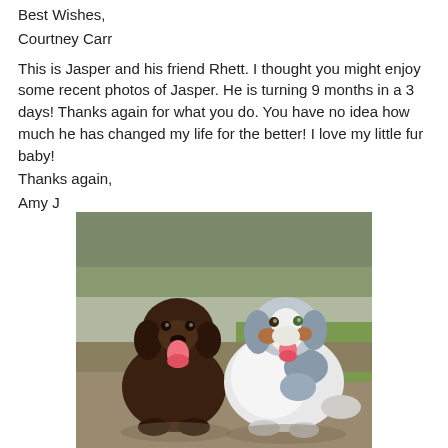Best Wishes,
Courtney Carr

This is Jasper and his friend Rhett. I thought you might enjoy some recent photos of Jasper. He is turning 9 months in a 3 days! Thanks again for what you do. You have no idea how much he has changed my life for the better! I love my little fur baby!
Thanks again,
Amy J
[Figure (photo): Photo of two dogs sitting outdoors on grass/dirt. On the left is a chocolate Labrador Retriever with its tongue out. On the right is an Australian Shepherd (blue merle coloring, white and brown) also with its tongue out. Background shows trees and green grass.]